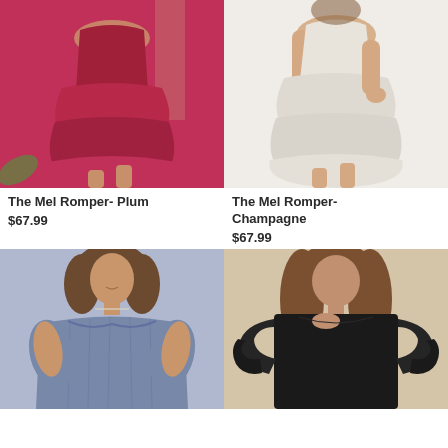[Figure (photo): Woman wearing The Mel Romper in Plum color - a magenta/plum tiered ruffle romper]
[Figure (photo): Woman wearing The Mel Romper in Champagne color - a white/cream tiered ruffle romper]
The Mel Romper- Plum
$67.99
The Mel Romper- Champagne
$67.99
[Figure (photo): Woman wearing a blue off-shoulder ruched dress]
[Figure (photo): Woman wearing a black ruffle-sleeve top]